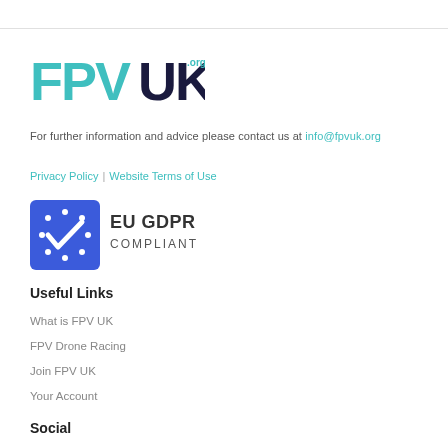[Figure (logo): FPV UK logo in teal and dark navy colors]
For further information and advice please contact us at info@fpvuk.org
Privacy Policy | Website Terms of Use
[Figure (logo): EU GDPR Compliant badge with blue square, EU stars circle, checkmark, and text EU GDPR COMPLIANT]
Useful Links
What is FPV UK
FPV Drone Racing
Join FPV UK
Your Account
Social